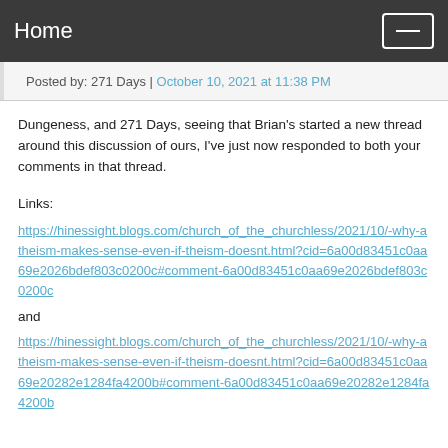Home
Posted by: 271 Days | October 10, 2021 at 11:38 PM
Dungeness, and 271 Days, seeing that Brian's started a new thread around this discussion of ours, I've just now responded to both your comments in that thread.
Links:
https://hinessight.blogs.com/church_of_the_churchless/2021/10/-why-atheism-makes-sense-even-if-theism-doesnt.html?cid=6a00d83451c0aa69e2026bdef803c0200c#comment-6a00d83451c0aa69e2026bdef803c0200c
and
https://hinessight.blogs.com/church_of_the_churchless/2021/10/-why-atheism-makes-sense-even-if-theism-doesnt.html?cid=6a00d83451c0aa69e20282e1284fa4200b#comment-6a00d83451c0aa69e20282e1284fa4200b